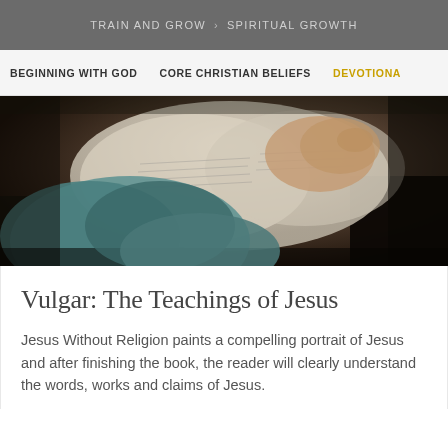TRAIN AND GROW > SPIRITUAL GROWTH
BEGINNING WITH GOD   CORE CHRISTIAN BELIEFS   DEVOTIONA
[Figure (photo): A child sitting and reading an open book, viewed from above and behind. The child is wearing a teal/blue shirt.]
Vulgar: The Teachings of Jesus
Jesus Without Religion paints a compelling portrait of Jesus and after finishing the book, the reader will clearly understand the words, works and claims of Jesus.